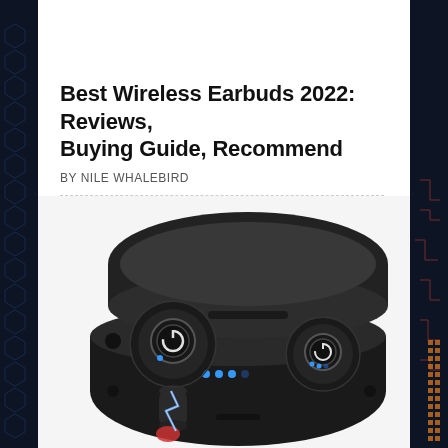[Figure (photo): Partial top view of wireless earbuds in black color, cropped at top of page]
Best Wireless Earbuds 2022: Reviews, Buying Guide, Recommend
BY NILE WHALEBIRD
[Figure (photo): Wireless earbuds with charging case open, showing two black earbuds with power button icons, blue LED indicators, and charging contacts with lightning effect]